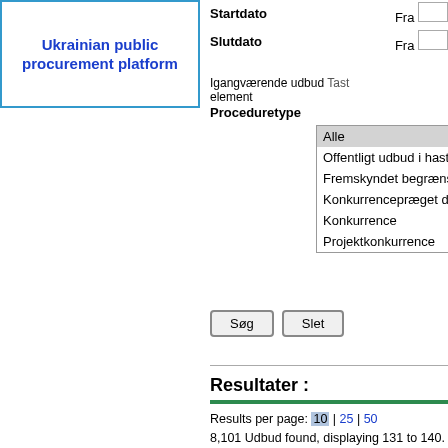[Figure (logo): Ukrainian public procurement platform logo in blue bordered box]
Startdato  Fra
Slutdato  Fra
Igangværende udbud Task element
Proceduretype
Alle
Offentligt udbud i hast
Fremskyndet begræns
Konkurrencepræget d
Konkurrence
Projektkonkurrence
Søg   Slet
Resultater :
Results per page: 10 | 25 | 50
8,101 Udbud found, displaying 131 to 140.[R
| Udbudsreference |  |
| --- | --- |
| INTPA/JKT/2022/EA-RP/0110 | Enha Euro |